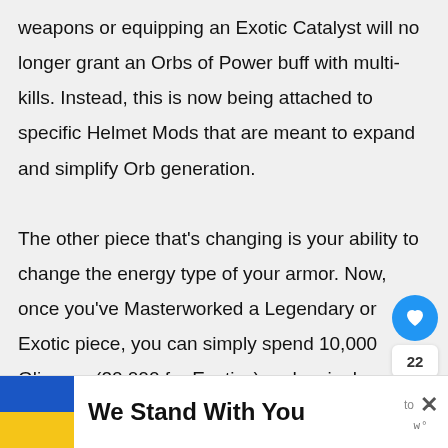weapons or equipping an Exotic Catalyst will no longer grant an Orbs of Power buff with multi-kills. Instead, this is now being attached to specific Helmet Mods that are meant to expand and simplify Orb generation.

The other piece that's changing is your ability to change the energy type of your armor. Now, once you've Masterworked a Legendary or Exotic piece, you can simply spend 10,000 Glimmer (20,000 for Exotics) and a single Upgrade Module to switch it. This will make
[Figure (other): Social interaction sidebar with heart/like button (blue circle with heart icon), count of 22, and share button (white circle with share icon)]
[Figure (other): Advertisement banner with Ukrainian flag (blue and yellow), bold text 'We Stand With You', close button with X and branding watermark]